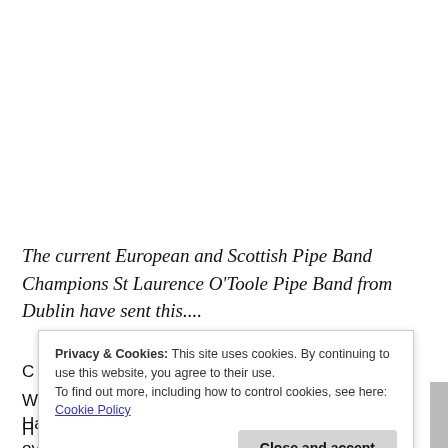The current European and Scottish Pipe Band Champions St Laurence O'Toole Pipe Band from Dublin have sent this....
Privacy & Cookies: This site uses cookies. By continuing to use this website, you agree to their use.
To find out more, including how to control cookies, see here: Cookie Policy
Close and accept
Having performed the concert to a sellout crowd of over